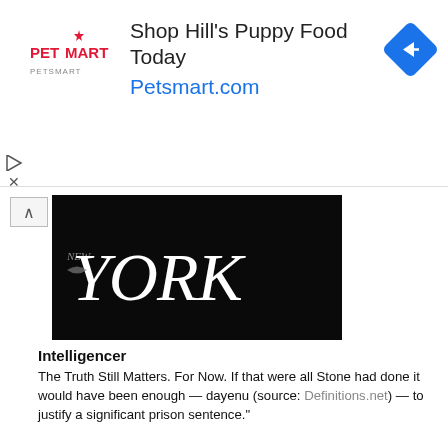[Figure (infographic): PetSmart advertisement banner with logo, 'Shop Hill's Puppy Food Today' headline, 'Petsmart.com' URL in blue, and blue diamond navigation arrow icon]
[Figure (logo): New York Magazine masthead logo - white cursive 'NEW YORK' text on black background]
Intelligencer
The Truth Still Matters. For Now. If that were all Stone had done it would have been enough — dayenu (source: Definitions.net) — to justify a significant prison sentence."
Andrew Cohen
New York Magazine
nymag.com
[Figure (logo): Studentreasures Publishing logo - golden fan/book pages design above the text 'Studentreasures PUBLISHING']